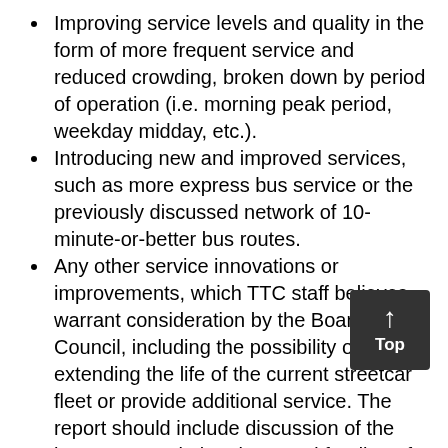Improving service levels and quality in the form of more frequent service and reduced crowding, broken down by period of operation (i.e. morning peak period, weekday midday, etc.).
Introducing new and improved services, such as more express bus service or the previously discussed network of 10-minute-or-better bus routes.
Any other service innovations or improvements, which TTC staff believes warrant consideration by the Board and/or Council, including the possibility of extending the life of the current streetcar fleet or provide additional service. The report should include discussion of the impact on capital projects and funding of any such decisions.